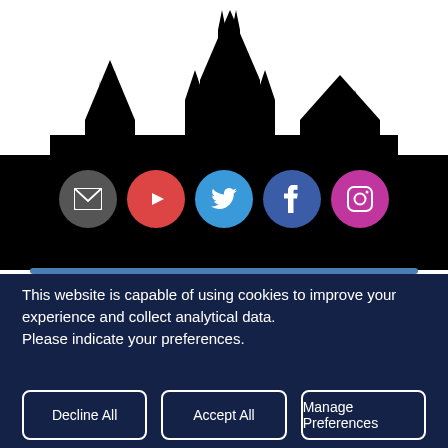[Figure (illustration): Black silhouette of a cathedral/city skyline against a white sky, with social media icon circles (email, YouTube, Twitter, Facebook, Instagram) overlaid on the black background below the skyline]
This website is capable of using cookies to improve your experience and collect analytical data.
Please indicate your preferences.
Decline All
Accept All
Manage Preferences